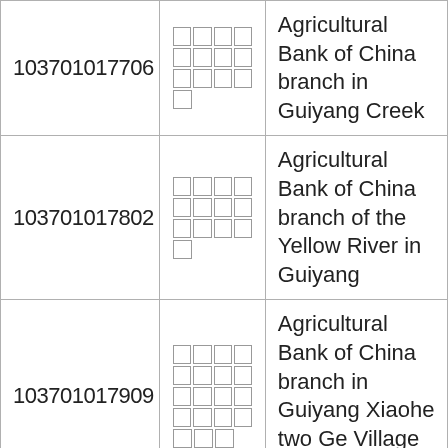| Code | Chinese Name | English Name |
| --- | --- | --- |
| 103701017706 | □□□□□□□□□□□ | Agricultural Bank of China branch in Guiyang Creek |
| 103701017802 | □□□□□□□□□□□ | Agricultural Bank of China branch of the Yellow River in Guiyang |
| 103701017909 | □□□□□□□□□□□□□□□ | Agricultural Bank of China branch in Guiyang Xiaohe two Ge Village Branch |
| 103701018008 | □□□□□□□□□□□□ | Agricultural Bank of China branch in Guiyang Xiaohe... |